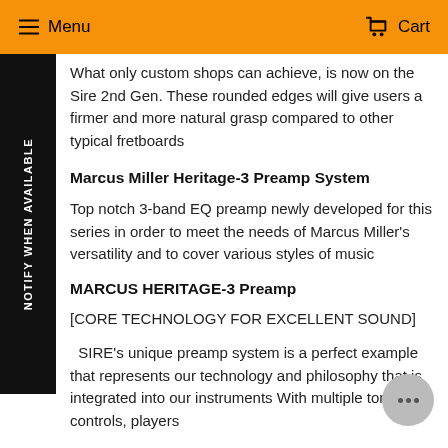Menu   Cart
What only custom shops can achieve, is now on the Sire 2nd Gen. These rounded edges will give users a firmer and more natural grasp compared to other typical fretboards
Marcus Miller Heritage-3 Preamp System
Top notch 3-band EQ preamp newly developed for this series in order to meet the needs of Marcus Miller's versatility and to cover various styles of music
MARCUS HERITAGE-3 Preamp
[CORE TECHNOLOGY FOR EXCELLENT SOUND]
SIRE's unique preamp system is a perfect example that represents our technology and philosophy that is integrated into our instruments With multiple tone controls, players